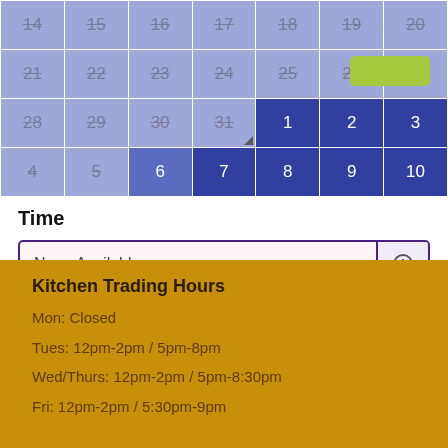| 14 | 15 | 16 | 17 | 18 | 19 | 20 |
| 21 | 22 | 23 | 24 | 25 | 26 | 27 |
| 28 | 29 | 30 | 31 | 1 | 2 | 3 |
| 4 | 5 | 6 | 7 | 8 | 9 | 10 |
Time
None Available
Kitchen Trading Hours
Mon: Closed
Tues: 12pm-2pm / 5pm-8pm
Wed/Thurs: 12pm-2pm / 5pm-8:30pm
Fri: 12pm-2pm / 5:30pm-9pm